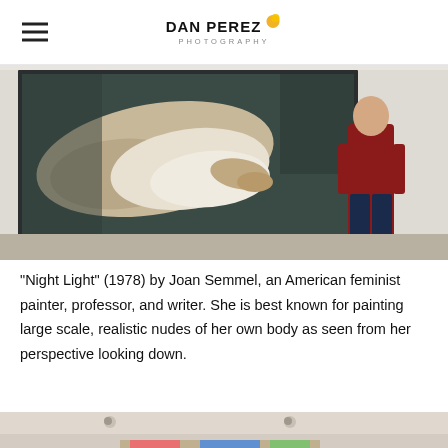DAN PEREZ PHOTOGRAPHY
[Figure (photo): A man in a red sweater and jeans stands in an art gallery looking at a large painting of a reclining nude figure by Joan Semmel.]
“Night Light” (1978) by Joan Semmel, an American feminist painter, professor, and writer. She is best known for painting large scale, realistic nudes of her own body as seen from her perspective looking down.
[Figure (photo): Partial view of another gallery room with paintings on the wall.]